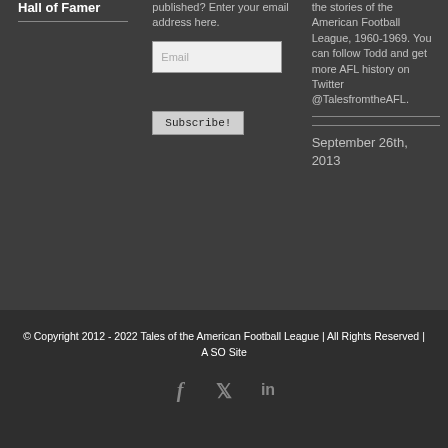Hall of Famer
published? Enter your email address here.
the stories of the American Football League, 1960-1969. You can follow Todd and get more AFL history on Twitter @TalesfromtheAFL.
September 26th, 2013
© Copyright 2012 - 2022 Tales of the American Football League | All Rights Reserved | A SO Site